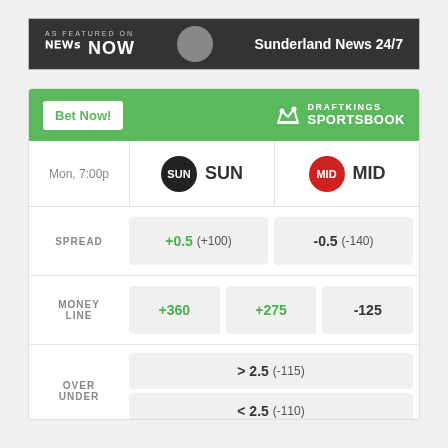[Figure (logo): News Now banner with 'AS FEATURED ON NEWS NOW' on the left and 'Sunderland News 24/7' on the right, dark grey background]
|  | SUN | MID |
| --- | --- | --- |
| Mon, 7:00p | SUN | MID |
| SPREAD | +0.5  (+100) | -0.5  (-140) |
| MONEY LINE | +360 | +275  -125 |
| OVER UNDER | > 2.5  (-115) | < 2.5  (-110) |
Odds/Lines subject to change. See draftkings.com for details.